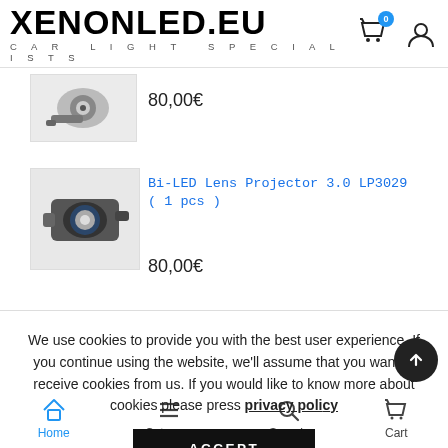XENONLED.EU — CAR LIGHT SPECIALISTS
[Figure (photo): Product image of a xenon/LED car headlight projector lens, top item]
80,00€
Bi-LED Lens Projector 3.0 LP3029 ( 1 pcs )
[Figure (photo): Product image of Bi-LED Lens Projector 3.0 LP3029, black projector lens]
80,00€
We use cookies to provide you with the best user experience. If you continue using the website, we'll assume that you want to receive cookies from us. If you would like to know more about cookies please press privacy policy
Home  Category  Search  Cart